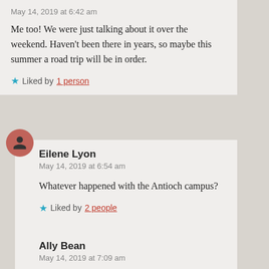May 14, 2019 at 6:42 am
Me too! We were just talking about it over the weekend. Haven't been there in years, so maybe this summer a road trip will be in order.
★ Liked by 1 person
Eilene Lyon
May 14, 2019 at 6:54 am
Whatever happened with the Antioch campus?
★ Liked by 2 people
Ally Bean
May 14, 2019 at 7:09 am